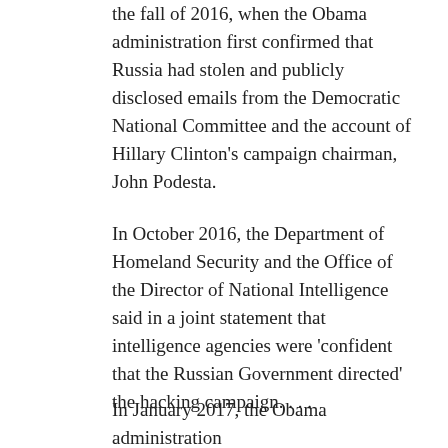the fall of 2016, when the Obama administration first confirmed that Russia had stolen and publicly disclosed emails from the Democratic National Committee and the account of Hillary Clinton's campaign chairman, John Podesta.
In October 2016, the Department of Homeland Security and the Office of the Director of National Intelligence said in a joint statement that intelligence agencies were 'confident that the Russian Government directed' the hacking campaign. . . .
In January 2017, the Obama administration published a detailed assessment that unambiguously laid the blame on the Kremlin, concluding that 'Putin ordered an influence campaign' and that Russia's goal was to undermine faith in the US democratic process and harm Clinton's chances of winning.
'That's a pretty remarkable intelligence